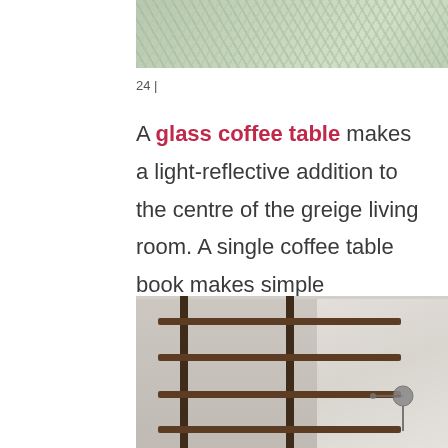[Figure (photo): Top portion of a woven textile or rug with a herringbone pattern in muted green and beige tones, shown against a light background with what appears to be glass.]
24 |
A glass coffee table makes a light-reflective addition to the centre of the greige living room. A single coffee table book makes simple accessorisation.
[Figure (photo): Interior room photo showing a dark wood shelving unit with horizontal bars against a light wall, with a pendant lamp visible on the right side.]